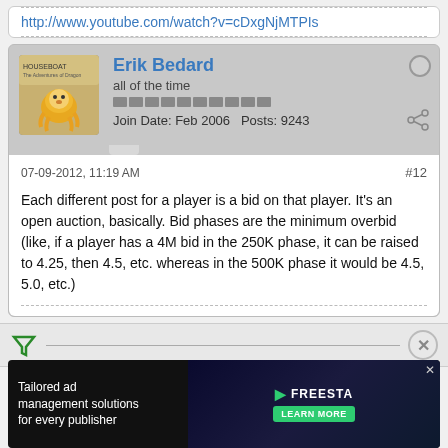http://www.youtube.com/watch?v=cDxgNjMTPIs
Erik Bedard
all of the time
Join Date: Feb 2006  Posts: 9243
07-09-2012, 11:19 AM
#12
Each different post for a player is a bid on that player. It's an open auction, basically. Bid phases are the minimum overbid (like, if a player has a 4M bid in the 250K phase, it can be raised to 4.25, then 4.5, etc. whereas in the 500K phase it would be 4.5, 5.0, etc.)
Whds0613
[Figure (screenshot): Advertisement: Tailored ad management solutions for every publisher - FREESTA with Learn More button]